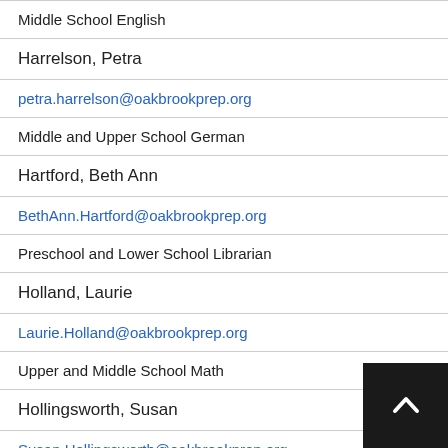Middle School English
Harrelson, Petra
petra.harrelson@oakbrookprep.org
Middle and Upper School German
Hartford, Beth Ann
BethAnn.Hartford@oakbrookprep.org
Preschool and Lower School Librarian
Holland, Laurie
Laurie.Holland@oakbrookprep.org
Upper and Middle School Math
Hollingsworth, Susan
Susan.Hollingsworth@oakbrookprep.org
Second Grade